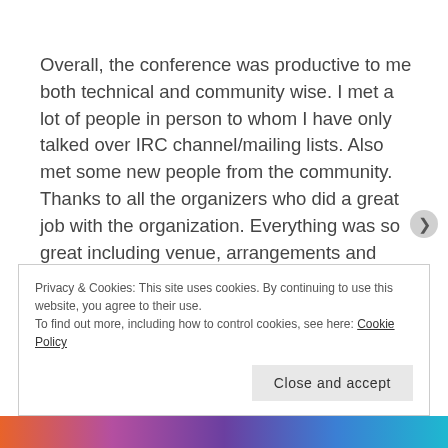Overall, the conference was productive to me both technical and community wise. I met a lot of people in person to whom I have only talked over IRC channel/mailing lists. Also met some new people from the community. Thanks to all the organizers who did a great job with the organization. Everything was so great including venue, arrangements and evening events (sadly I couldn't attend walking tour to city). I captured some pictures during my Flock trip which can be found at flickr.
Privacy & Cookies: This site uses cookies. By continuing to use this website, you agree to their use.
To find out more, including how to control cookies, see here: Cookie Policy
Close and accept